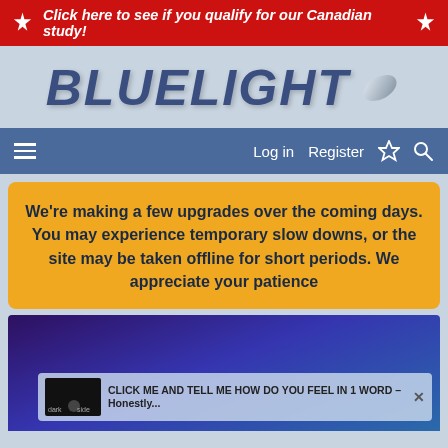Click here to see if you qualify for our Canadian study!
[Figure (logo): Bluelight logo with pill graphic]
Log in  Register
We're making a few upgrades over the coming days. You may experience temporary slow downs, or the site may be taken offline for short periods. We appreciate your patience
[Figure (screenshot): Dark blue/purple gradient background with a popup bar at bottom reading: CLICK ME AND TELL ME HOW DO YOU FEEL IN 1 WORD – Honestly...]